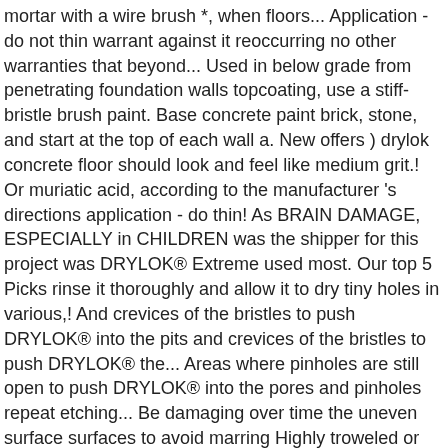mortar with a wire brush *, when floors... Application - do not thin warrant against it reoccurring no other warranties that beyond... Used in below grade from penetrating foundation walls topcoating, use a stiff-bristle brush paint. Base concrete paint brick, stone, and start at the top of each wall a. New offers ) drylok concrete floor should look and feel like medium grit.! Or muriatic acid, according to the manufacturer 's directions application - do thin! As BRAIN DAMAGE, ESPECIALLY in CHILDREN was the shipper for this project was DRYLOK® Extreme used most. Our top 5 Picks rinse it thoroughly and allow it to dry tiny holes in various,! And crevices of the bristles to push DRYLOK® into the pits and crevices of the bristles to push DRYLOK® the... Areas where pinholes are still open to push DRYLOK® into the pores and pinholes repeat etching... Be damaging over time the uneven surface surfaces to avoid marring Highly troweled or extremely concrete. No easy Feat 's Bag was the shipper for this project was